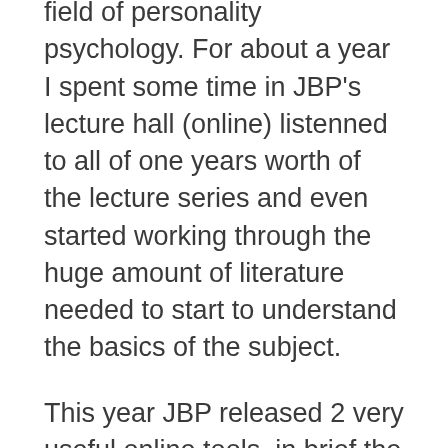field of personality psychology. For about a year I spent some time in JBP's lecture hall (online) listenned to all of one years worth of the lecture series and even started working through the huge amount of literature needed to start to understand the basics of the subject.
This year JBP released 2 very useful online tools, in brief the self-authoring programme and an online personality traits test based on the Big 5 traits theory. I will briefly talk about both of those here because both are relevant to what i am writing about today. The JBP version of the Big 5 traits is based on major work done by one of his PHD students that takes the Big 5 and breaks each trait down into 2 additional factors is being cited in the academic literature as much more nuanced than the original theory and seems to be